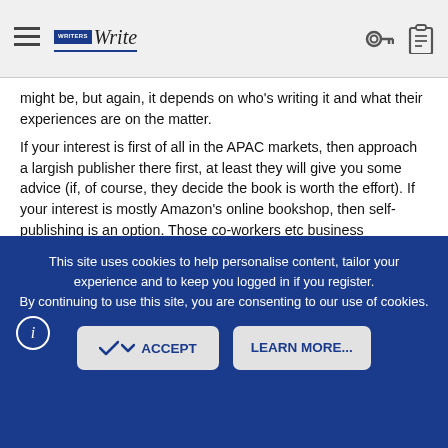WritersWrite navigation bar with hamburger menu, logo, key icon, clipboard icon
might be, but again, it depends on who's writing it and what their experiences are on the matter.
If your interest is first of all in the APAC markets, then approach a largish publisher there first, at least they will give you some advice (if, of course, they decide the book is worth the effort). If your interest is mostly Amazon's online bookshop, then self-publishing is an option. Those co-workers etc business acquaintances may get the word of mouth around to get you some sales and if the book's really, really REALLY good, it might take off. Of course you can approach a US/UK literary agency who works with the big publishers and has dedicated agents who handle international rights, but this is a tall order and your
This site uses cookies to help personalise content, tailor your experience and to keep you logged in if you register. By continuing to use this site, you are consenting to our use of cookies.